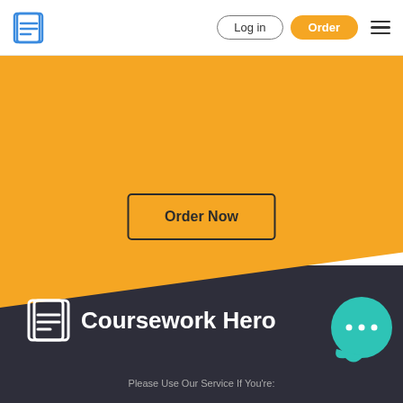Log in | Order
[Figure (screenshot): Coursework Hero website homepage screenshot showing orange hero section with Order Now button, dark footer with logo and brand name, and navigation bar with Log in and Order buttons]
Order Now
Coursework Hero
Please Use Our Service If You're: